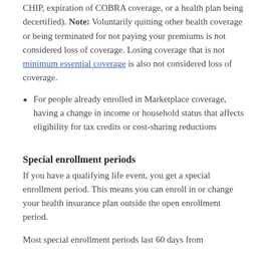CHIP, expiration of COBRA coverage, or a health plan being decertified). Note: Voluntarily quitting other health coverage or being terminated for not paying your premiums is not considered loss of coverage. Losing coverage that is not minimum essential coverage is also not considered loss of coverage.
For people already enrolled in Marketplace coverage, having a change in income or household status that affects eligibility for tax credits or cost-sharing reductions
Special enrollment periods
If you have a qualifying life event, you get a special enrollment period. This means you can enroll in or change your health insurance plan outside the open enrollment period.
Most special enrollment periods last 60 days from